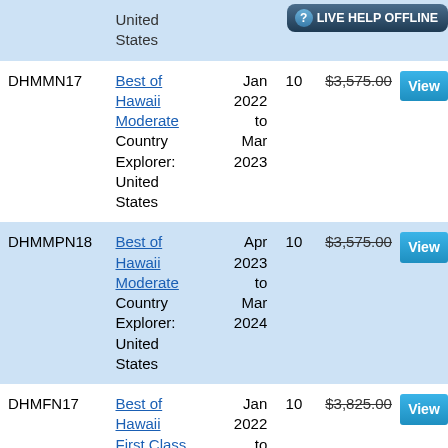| Code | Tour Name | Dates | Nights | Price | Action |
| --- | --- | --- | --- | --- | --- |
|  | United States |  |  |  | LIVE HELP OFFLINE |
| DHMMN17 | Best of Hawaii Moderate Country Explorer: United States | Jan 2022 to Mar 2023 | 10 | $3,575.00 | View |
| DHMMPN18 | Best of Hawaii Moderate Country Explorer: United States | Apr 2023 to Mar 2024 | 10 | $3,575.00 | View |
| DHMFN17 | Best of Hawaii First Class Country | Jan 2022 to Mar | 10 | $3,825.00 | View |